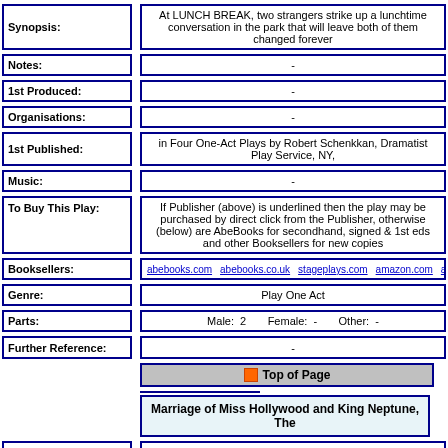| Field | Value |
| --- | --- |
| Synopsis: | At LUNCH BREAK, two strangers strike up a lunchtime conversation in the park that will leave both of them changed forever |
| Notes: | - |
| 1st Produced: | - |
| Organisations: | - |
| 1st Published: | in Four One-Act Plays by Robert Schenkkan, Dramatist Play Service, NY, |
| Music: | - |
| To Buy This Play: | If Publisher (above) is underlined then the play may be purchased by direct click from the Publisher, otherwise (below) are AbeBooks for secondhand, signed & 1st eds and other Booksellers for new copies |
| Booksellers: | abebooks.com  abebooks.co.uk  stageplays.com  amazon.com  amazon.co.uk  am... |
| Genre: | Play One Act |
| Parts: | Male: 2    Female: -    Other: - |
| Further Reference: | - |
Top of Page
Marriage of Miss Hollywood and King Neptune, The
| Field | Value |
| --- | --- |
| Synopsis: | Hollywood, 1929. Sly-as-a-fox talent agent Manny Weisenberg has got a problem. Several. His biggest client, Bob "Whiplash" McCord -- a British classical actor trapped |